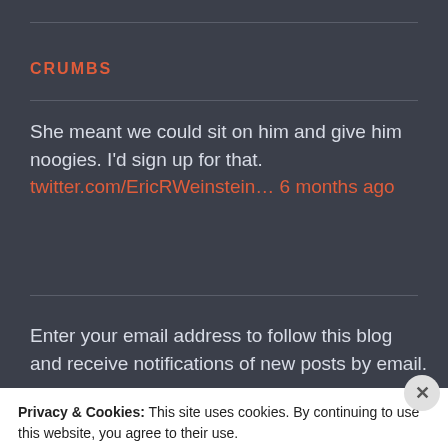CRUMBS
She meant we could sit on him and give him noogies. I'd sign up for that. twitter.com/EricRWeinstein… 6 months ago
[Figure (other): Twitter Follow button for @ahhite with bird icon]
Enter your email address to follow this blog and receive notifications of new posts by email.
Privacy & Cookies: This site uses cookies. By continuing to use this website, you agree to their use.
To find out more, including how to control cookies, see here: Cookie Policy
Close and accept